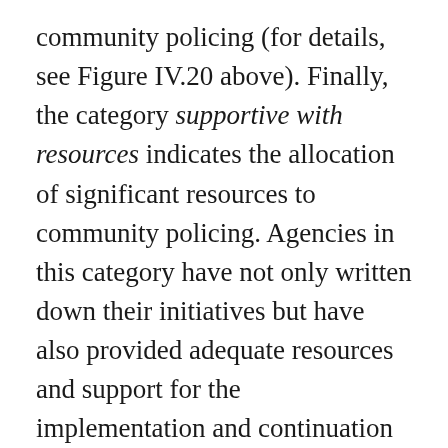community policing (for details, see Figure IV.20 above). Finally, the category supportive with resources indicates the allocation of significant resources to community policing. Agencies in this category have not only written down their initiatives but have also provided adequate resources and support for the implementation and continuation of community policing within all ranks. In a substantial number of police services, officers whom we interviewed disagreed with one another as to the level of support for community policing. These police services were coded multiple answers. Figure